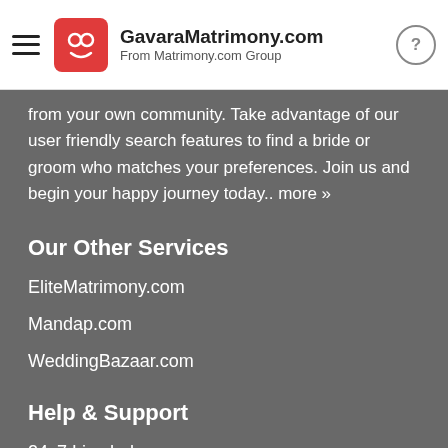GavaraMatrimony.com
From Matrimony.com Group
from your own community. Take advantage of our user friendly search features to find a bride or groom who matches your preferences. Join us and begin your happy journey today.. more »
Our Other Services
EliteMatrimony.com
Mandap.com
WeddingBazaar.com
Help & Support
24x7 Live help